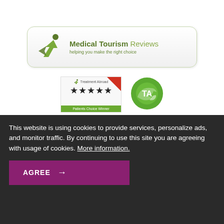[Figure (logo): Medical Tourism Reviews logo banner with green arrow/person icon, text 'Medical Tourism Reviews helping you make the right choice']
[Figure (logo): Treatment Abroad 4-star Patients Choice Winner badge with red corner ribbon and green bar]
[Figure (logo): TA green circular logo with arrow]
This website is using cookies to provide services, personalize ads, and monitor traffic. By continuing to use this site you are agreeing with usage of cookies. More information.
AGREE →